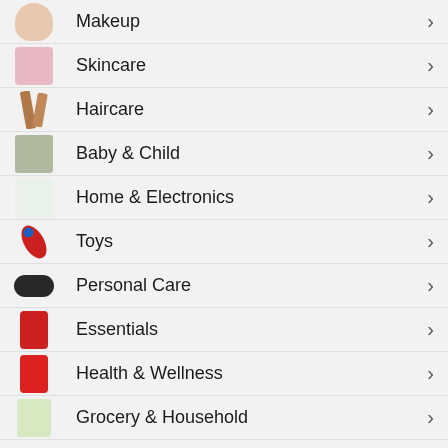Makeup
Skincare
Haircare
Baby & Child
Home & Electronics
Toys
Personal Care
Essentials
Health & Wellness
Grocery & Household